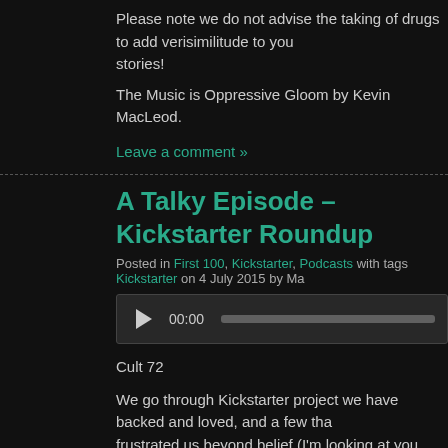Please note we do not advise the taking of drugs to add verisimilitude to your stories!
The Music is Oppressive Gloom by Kevin MacLeod.
Leave a comment »
A Talky Episode – Kickstarter Roundup
Posted in First 100, Kickstarter, Podcasts with tags Kickstarter on 4 July 2015 by Ma
[Figure (other): Audio player with play button, time display 00:00, and progress bar]
Cult 72
We go through Kickstarter project we have backed and loved, and a few that frustrated us beyond belief (I'm looking at you Chaosium). We round up all of the video game and roleplaying projects we have backed. Also discussed is the programming companies kickstarting the IP free versions of their own previous games (Torment and Numenera for example).
Shadows of Esteren
OVA
Revelations of Mars
Plotbuilder cards